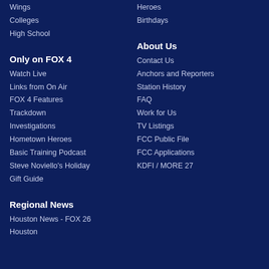Wings
Colleges
High School
Heroes
Birthdays
Only on FOX 4
Watch Live
Links from On Air
FOX 4 Features
Trackdown
Investigations
Hometown Heroes
Basic Training Podcast
Steve Noviello's Holiday Gift Guide
About Us
Contact Us
Anchors and Reporters
Station History
FAQ
Work for Us
TV Listings
FCC Public File
FCC Applications
KDFI / MORE 27
Regional News
Houston News - FOX 26 Houston